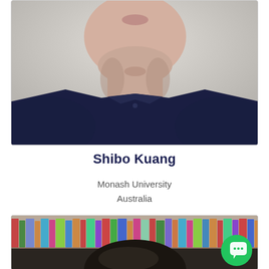[Figure (photo): Headshot photo of Shibo Kuang - lower face, chin and neck visible, wearing dark navy shirt, gray background]
Shibo Kuang
Monash University
Australia
[Figure (photo): Partial headshot of a second person - dark hair visible at top of frame, bookshelf background. Chat bubble button overlay in bottom right.]